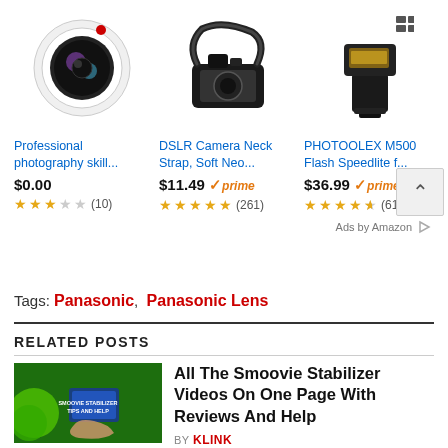[Figure (screenshot): Amazon ad panel showing three products: Professional photography skill app icon, DSLR Camera Neck Strap, PHOTOOLEX M500 Flash Speedlite]
Professional photography skill... $0.00 ★★★☆☆ (10)
DSLR Camera Neck Strap, Soft Neo... $11.49 ✓prime ★★★★★ (261)
PHOTOOLEX M500 Flash Speedlite f... $36.99 ✓prime ★★★★½ (615
Ads by Amazon
Tags: Panasonic, Panasonic Lens
RELATED POSTS
[Figure (photo): Thumbnail image for Smoovie Stabilizer Tips and Help video, showing green stabilizer device and hands with blue phone on green background]
All The Smoovie Stabilizer Videos On One Page With Reviews And Help
BY KLINK